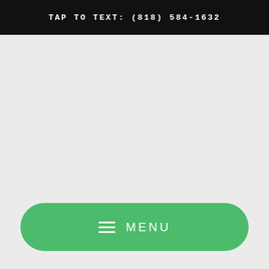TAP TO TEXT: (818) 584-1632
[Figure (screenshot): Large empty gray area serving as main content region of a mobile app interface]
MENU